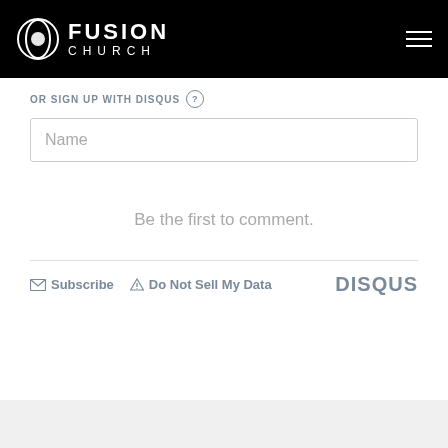[Figure (logo): Fusion Church logo: white circular swirl icon with FUSION CHURCH text on black navigation bar]
OR SIGN UP WITH DISQUS ?
Name
Be the first to comment.
Subscribe  Do Not Sell My Data   DISQUS